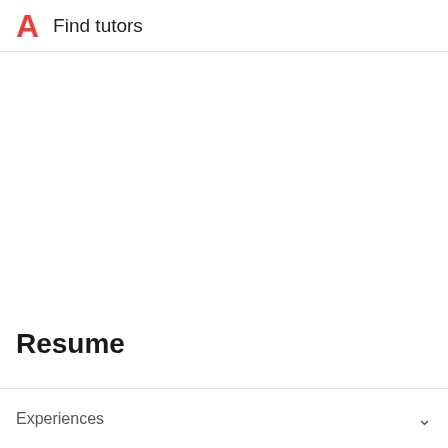A  Find tutors
Resume
Experiences